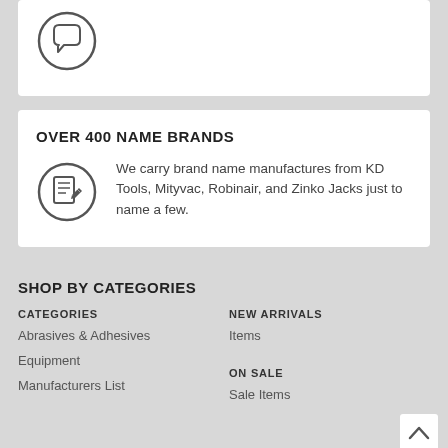[Figure (illustration): Chat/feedback icon inside a circle at top of page, partially visible]
OVER 400 NAME BRANDS
[Figure (illustration): Document/list icon inside a circle]
We carry brand name manufactures from KD Tools, Mityvac, Robinair, and Zinko Jacks just to name a few.
SHOP BY CATEGORIES
CATEGORIES
Abrasives & Adhesives
Equipment
Manufacturers List
NEW ARRIVALS
Items
ON SALE
Sale Items
CUSTOMER SERVICE
Customer Service
LEGALS
Legal Info